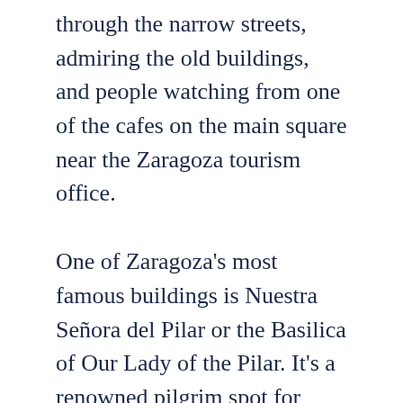through the narrow streets, admiring the old buildings, and people watching from one of the cafes on the main square near the Zaragoza tourism office.
One of Zaragoza's most famous buildings is Nuestra Señora del Pilar or the Basilica of Our Lady of the Pilar. It's a renowned pilgrim spot for Christians. Legend says that St James saw a vision of the Virgin Mary here in 40 AD, and was told by her to build a church in that spot by Zaragogas River, in her honour.
Since then pilgrims come from all over the world have come to Zaragoza to kiss the